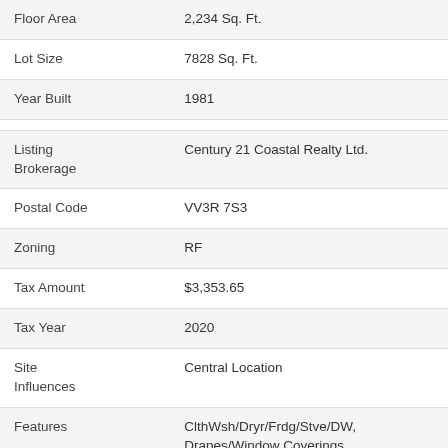| Field | Value |
| --- | --- |
| Floor Area | 2,234 Sq. Ft. |
| Lot Size | 7828 Sq. Ft. |
| Year Built | 1981 |
| Listing Brokerage | Century 21 Coastal Realty Ltd. |
| Postal Code | VV3R 7S3 |
| Zoning | RF |
| Tax Amount | $3,353.65 |
| Tax Year | 2020 |
| Site Influences | Central Location |
| Features | ClthWsh/Dryr/Frdg/Stve/DW, Drapes/Window Coverings |